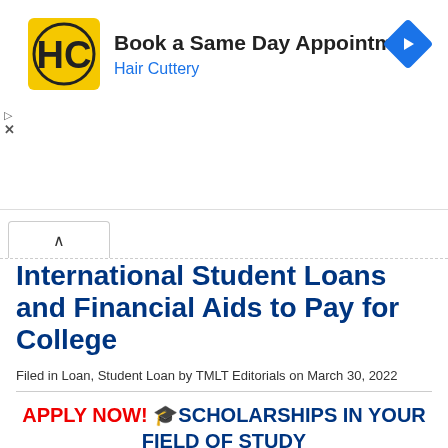[Figure (logo): Hair Cuttery advertisement banner with HC logo, 'Book a Same Day Appointment' text, Hair Cuttery subtitle, and blue diamond navigation arrow icon]
International Student Loans and Financial Aids to Pay for College
Filed in Loan, Student Loan by TMLT Editorials on March 30, 2022
APPLY NOW! 🎓SCHOLARSHIPS IN YOUR FIELD OF STUDY